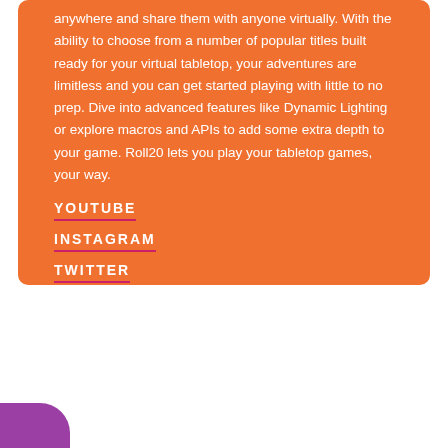anywhere and share them with anyone virtually. With the ability to choose from a number of popular titles built ready for your virtual tabletop, your adventures are limitless and you can get started playing with little to no prep. Dive into advanced features like Dynamic Lighting or explore macros and APIs to add some extra depth to your game. Roll20 lets you play your tabletop games, your way.
YOUTUBE
INSTAGRAM
TWITTER